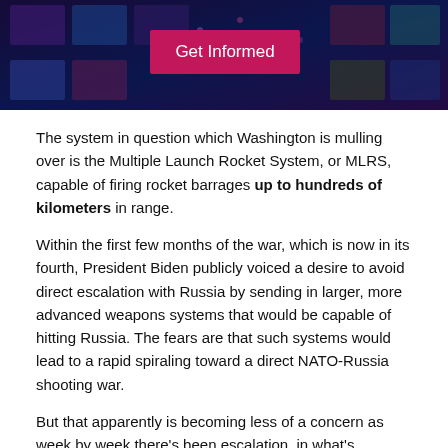[Figure (photo): Banner image with tech/digital background (blue/purple tones with screens) and a pink 'Get Informed' button overlay]
The system in question which Washington is mulling over is the Multiple Launch Rocket System, or MLRS, capable of firing rocket barrages up to hundreds of kilometers in range.
Within the first few months of the war, which is now in its fourth, President Biden publicly voiced a desire to avoid direct escalation with Russia by sending in larger, more advanced weapons systems that would be capable of hitting Russia. The fears are that such systems would lead to a rapid spiraling toward a direct NATO-Russia shooting war.
But that apparently is becoming less of a concern as week by week there's been escalation, in what's increasingly openly acknowledged as a de facto proxy war. What's more is that reports of Ukrainian forces being encircled in the Donbas, and per[...] o have US defe[...] of "victor[...] iences